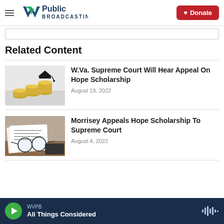WV Public Broadcasting — Donate
Related Content
[Figure (photo): Stack of coins with a graduation cap on top, representing scholarship funding]
W.Va. Supreme Court Will Hear Appeal On Hope Scholarship
August 19, 2022
[Figure (photo): Documents, glasses, and a pen on a desk, representing legal paperwork]
Morrisey Appeals Hope Scholarship To Supreme Court
August 4, 2022
WVPB — All Things Considered